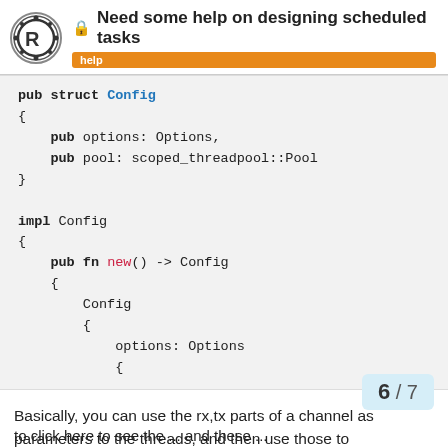Need some help on designing scheduled tasks — help
[Figure (screenshot): Rust code block showing pub struct Config with options and pool fields, and impl Config with pub fn new() returning Config, with nested Config struct initialization]
Basically, you can use the rx,tx parts of a channel as parameters to the threads, and then use those to communicate between the threads.
6 / 7
to click here to see the ... and these ...